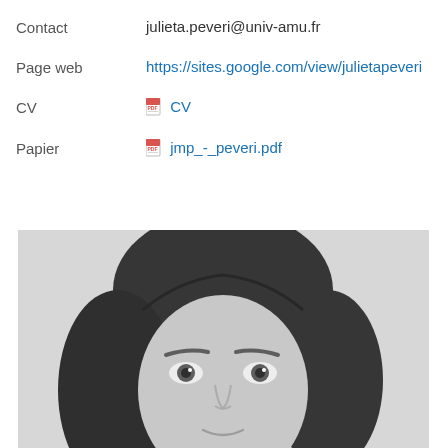Contact   julieta.peveri@univ-amu.fr
Page web   https://sites.google.com/view/julietapeveri
CV   CV
Papier   jmp_-_peveri.pdf
[Figure (photo): Black and white portrait photo of a young woman with long dark hair, facing the camera, from forehead to mouth.]